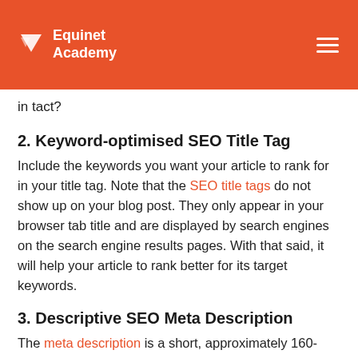Equinet Academy
in tact?
2. Keyword-optimised SEO Title Tag
Include the keywords you want your article to rank for in your title tag. Note that the SEO title tags do not show up on your blog post. They only appear in your browser tab title and are displayed by search engines on the search engine results pages. With that said, it will help your article to rank better for its target keywords.
3. Descriptive SEO Meta Description
The meta description is a short, approximately 160-character description in the <head> section of your page. It is commonly used by search engines to display as the preview snippet of the search engine results pages.